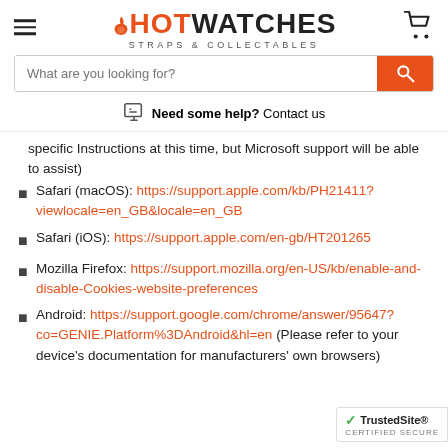HOT WATCHES STRAPS & COLLECTABLES
[Figure (screenshot): Search bar with placeholder 'What are you looking for?' and orange search button]
Need some help? Contact us
specific Instructions at this time, but Microsoft support will be able to assist)
Safari (macOS): https://support.apple.com/kb/PH21411?viewlocale=en_GB&locale=en_GB
Safari (iOS): https://support.apple.com/en-gb/HT201265
Mozilla Firefox: https://support.mozilla.org/en-US/kb/enable-and-disable-Cookies-website-preferences
Android: https://support.google.com/chrome/answer/95647?co=GENIE.Platform%3DAndroid&hl=en (Please refer to your device's documentation for manufacturers' own browsers)
[Figure (logo): TrustedSite Certified Secure badge]